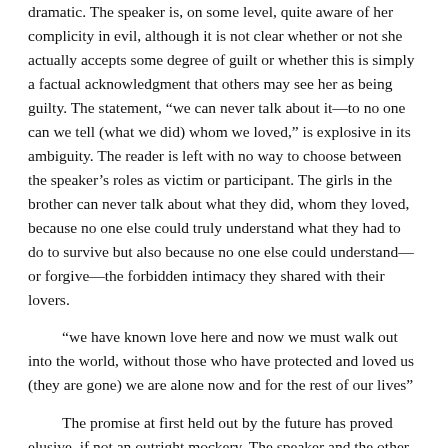dramatic. The speaker is, on some level, quite aware of her complicity in evil, although it is not clear whether or not she actually accepts some degree of guilt or whether this is simply a factual acknowledgment that others may see her as being guilty. The statement, “we can never talk about it—to no one can we tell (what we did) whom we loved,” is explosive in its ambiguity. The reader is left with no way to choose between the speaker’s roles as victim or participant. The girls in the brother can never talk about what they did, whom they loved, because no one else could truly understand what they had to do to survive but also because no one else could understand—or forgive—the forbidden intimacy they shared with their lovers.
“we have known love here and now we must walk out into the world, without those who have protected and loved us (they are gone) we are alone now and for the rest of our lives”
The promise at first held out by the future has proved elusive, if not an outright mockery. The speaker and the other brothel girls have “known love”; that love is gone forever and they must venture out into the coldness